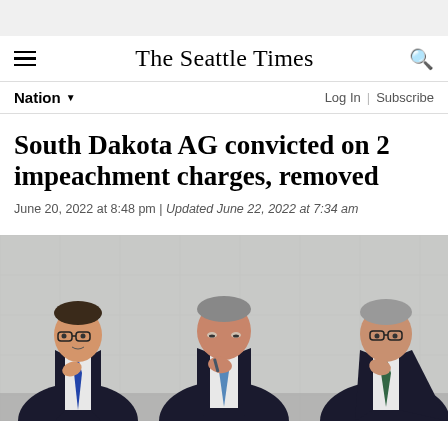The Seattle Times
Nation
South Dakota AG convicted on 2 impeachment charges, removed
June 20, 2022 at 8:48 pm | Updated June 22, 2022 at 7:34 am
[Figure (photo): Three men in dark suits seated at a table against a light stone/concrete wall background. The man on the left wears glasses and a blue tie. The man in the center has gray hair and is looking down with his hand near his mouth. The man on the right also wears glasses and has his hand near his chin.]